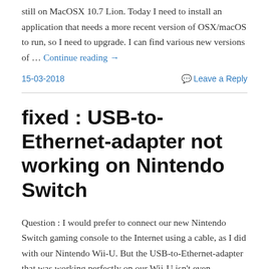still on MacOSX 10.7 Lion. Today I need to install an application that needs a more recent version of OSX/macOS to run, so I need to upgrade. I can find various new versions of … Continue reading →
15-03-2018
Leave a Reply
fixed : USB-to-Ethernet-adapter not working on Nintendo Switch
Question : I would prefer to connect our new Nintendo Switch gaming console to the Internet using a cable, as I did with our Nintendo Wii-U. But the USB-to-Ethernet-adapter that was working perfectly on our Wii-U isn't even recognized by the new Nintendo Switch. What is wrong ?